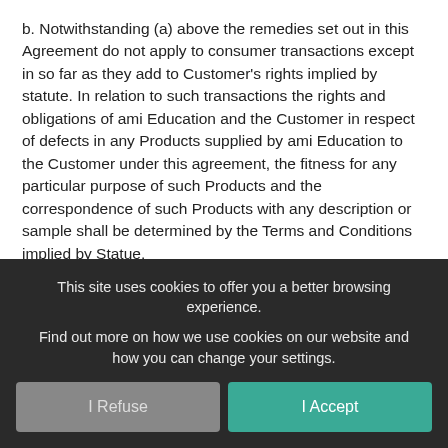b. Notwithstanding (a) above the remedies set out in this Agreement do not apply to consumer transactions except in so far as they add to Customer's rights implied by statute. In relation to such transactions the rights and obligations of ami Education and the Customer in respect of defects in any Products supplied by ami Education to the Customer under this agreement, the fitness for any particular purpose of such Products and the correspondence of such Products with any description or sample shall be determined by the Terms and Conditions implied by Statue.
c. Notwithstanding (a) and (b) above all rights which the Customer may have under the Consumer Protection Act 1987 and the Consumer Protection (Distance Selling) Regulations 2000 are in addition to those set out in this Agreement.
This site uses cookies to offer you a better browsing experience.
Find out more on how we use cookies on our website and how you can change your settings.